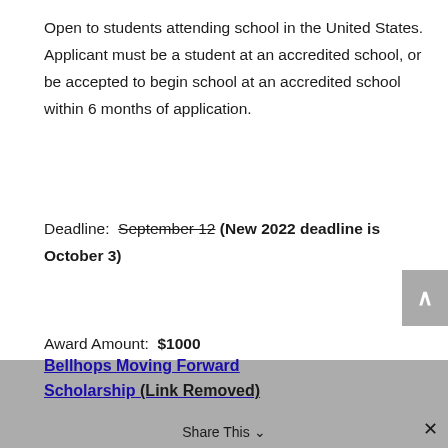Open to students attending school in the United States. Applicant must be a student at an accredited school, or be accepted to begin school at an accredited school within 6 months of application.
Deadline:  September 12 (New 2022 deadline is October 3)
Award Amount:  $1000
Bellhops Moving Forward Scholarship (Link Removed)
Share This